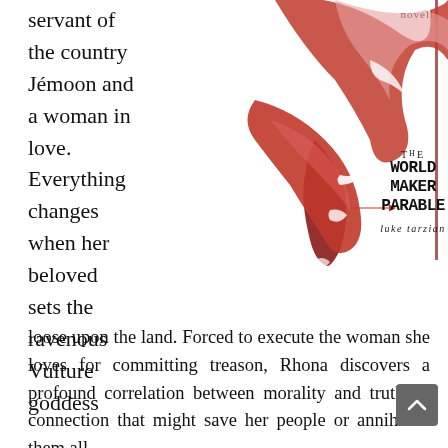servant of the country Jémoon and a woman in love. Everything changes when her beloved sets the ravenous Vulture goddess loose upon the land. Forced to execute the woman she loves for committing treason, Rhona discovers a profound correlation between morality and truth. A connection that might save her people or annihilate them all.
[Figure (illustration): Book cover for 'The World Maker Parable' by Luke Tarzian, featuring dramatic red and crimson abstract wing or flame shapes on a white background. The title is displayed in stylized black hand-lettered text with 'The' small above 'WORLD MAKER PARABLE', and the author name 'luke tarzian' below. A 'novella' label appears at the top right.]